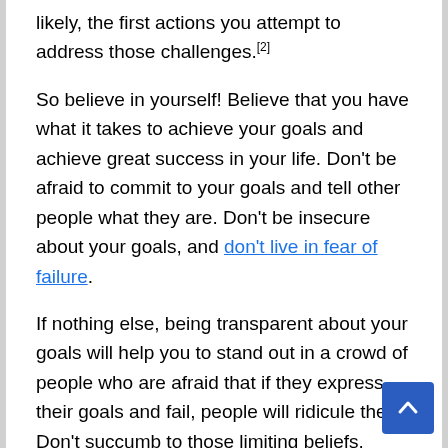likely, the first actions you attempt to address those challenges.[2]
So believe in yourself! Believe that you have what it takes to achieve your goals and achieve great success in your life. Don't be afraid to commit to your goals and tell other people what they are. Don't be insecure about your goals, and don't live in fear of failure.
If nothing else, being transparent about your goals will help you to stand out in a crowd of people who are afraid that if they express their goals and fail, people will ridicule them. Don't succumb to those limiting beliefs. Break free.
People will likely respect you for having the